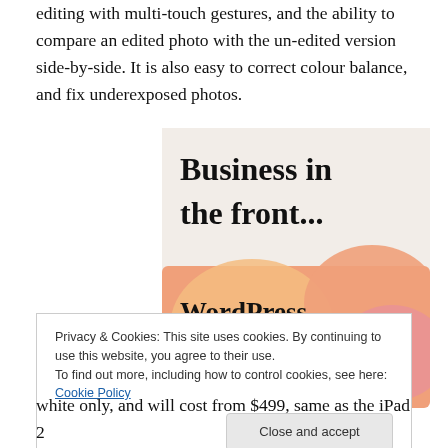editing with multi-touch gestures, and the ability to compare an edited photo with the un-edited version side-by-side. It is also easy to correct colour balance, and fix underexposed photos.
[Figure (screenshot): Advertisement image with two sections: top light beige section reading 'Business in the front...' in large serif font, and bottom section with orange/pink blob shapes reading 'WordPress in the back.' in large serif font.]
Privacy & Cookies: This site uses cookies. By continuing to use this website, you agree to their use.
To find out more, including how to control cookies, see here: Cookie Policy
white only, and will cost from $499, same as the iPad 2